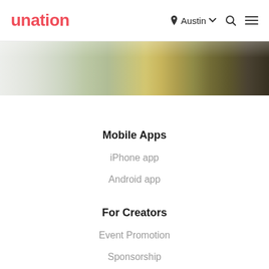unation | Austin
[Figure (photo): Landscape photo of a lake or river with trees and greenery reflecting on the water, with soft lighting]
Mobile Apps
iPhone app
Android app
For Creators
Event Promotion
Sponsorship
Sell Tickets